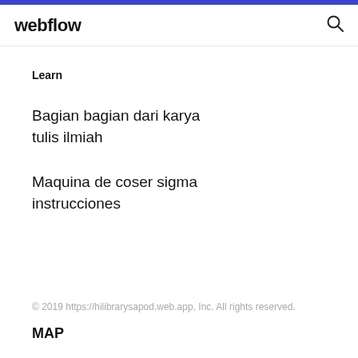webflow
Learn
Bagian bagian dari karya tulis ilmiah
Maquina de coser sigma instrucciones
© 2019 https://hilibrarysapod.web.app, Inc. All rights reserved.
MAP